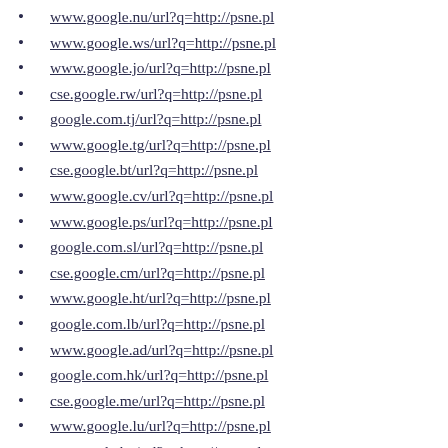www.google.nu/url?q=http://psne.pl
www.google.ws/url?q=http://psne.pl
www.google.jo/url?q=http://psne.pl
cse.google.rw/url?q=http://psne.pl
google.com.tj/url?q=http://psne.pl
www.google.tg/url?q=http://psne.pl
cse.google.bt/url?q=http://psne.pl
www.google.cv/url?q=http://psne.pl
www.google.ps/url?q=http://psne.pl
google.com.sl/url?q=http://psne.pl
cse.google.cm/url?q=http://psne.pl
www.google.ht/url?q=http://psne.pl
google.com.lb/url?q=http://psne.pl
www.google.ad/url?q=http://psne.pl
google.com.hk/url?q=http://psne.pl
cse.google.me/url?q=http://psne.pl
www.google.lu/url?q=http://psne.pl
cse.google.hu/url?q=http://psne.pl
cse.google.bg/url?q=http://psne.pl